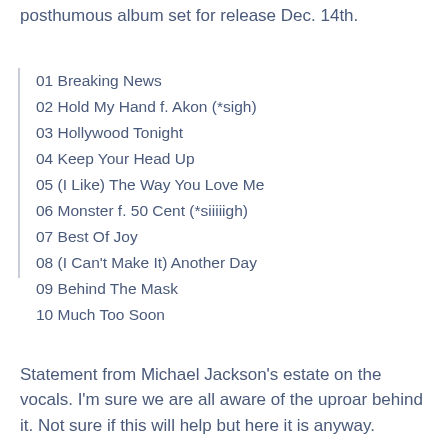posthumous album set for release Dec. 14th.
01 Breaking News
02 Hold My Hand f. Akon (*sigh)
03 Hollywood Tonight
04 Keep Your Head Up
05 (I Like) The Way You Love Me
06 Monster f. 50 Cent (*siiiiigh)
07 Best Of Joy
08 (I Can't Make It) Another Day
09 Behind The Mask
10 Much Too Soon
Statement from Michael Jackson's estate on the vocals. I'm sure we are all aware of the uproar behind it. Not sure if this will help but here it is anyway.